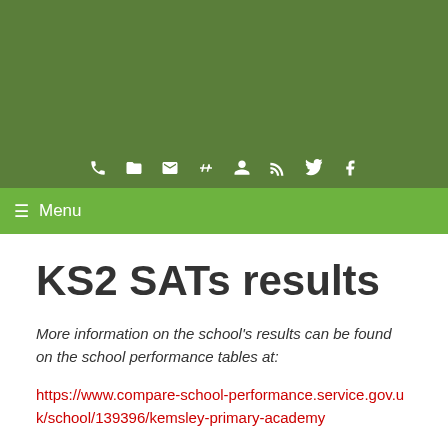[Figure (screenshot): Dark green header background with row of white social/contact icons (phone, folder, email, hashtag, person, RSS, Twitter, Facebook)]
≡ Menu
KS2 SATs results
More information on the school's results can be found on the school performance tables at:
https://www.compare-school-performance.service.gov.uk/school/139396/kemsley-primary-academy